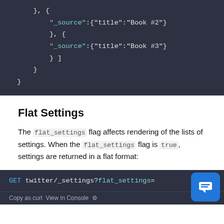[Figure (screenshot): Dark-themed code block showing JSON with '_source' keys and 'Book #2', 'Book #3' string values, with closing braces and brackets]
Flat Settings
The flat_settings flag affects rendering of the lists of settings. When the flat_settings flag is true, settings are returned in a flat format:
[Figure (screenshot): Dark-themed code block showing: GET twitter/_settings?flat_settings= with a chat support bubble overlay and 'Copy as curl  View in Console' bar]